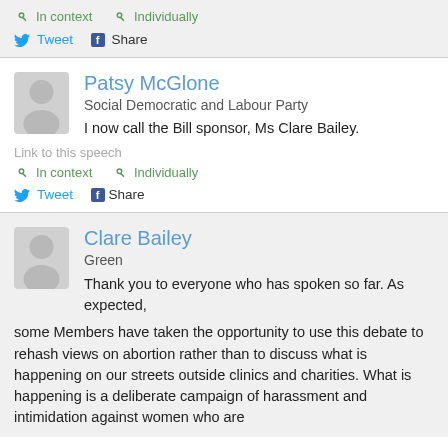In context  Individually
Tweet  Share
Patsy McGlone
Social Democratic and Labour Party
I now call the Bill sponsor, Ms Clare Bailey.
Link to this speech
In context  Individually
Tweet  Share
Clare Bailey
Green
Thank you to everyone who has spoken so far. As expected, some Members have taken the opportunity to use this debate to rehash views on abortion rather than to discuss what is happening on our streets outside clinics and charities. What is happening is a deliberate campaign of harassment and intimidation against women who are